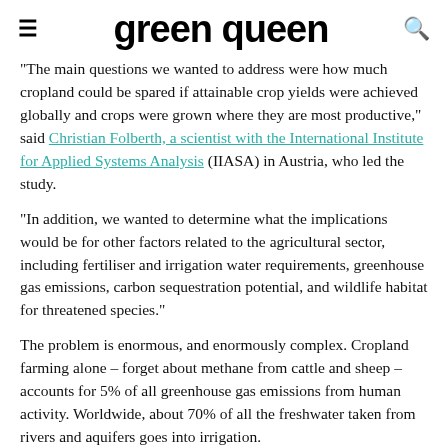green queen
"The main questions we wanted to address were how much cropland could be spared if attainable crop yields were achieved globally and crops were grown where they are most productive," said Christian Folberth, a scientist with the International Institute for Applied Systems Analysis (IIASA) in Austria, who led the study.
"In addition, we wanted to determine what the implications would be for other factors related to the agricultural sector, including fertiliser and irrigation water requirements, greenhouse gas emissions, carbon sequestration potential, and wildlife habitat for threatened species."
The problem is enormous, and enormously complex. Cropland farming alone – forget about methane from cattle and sheep – accounts for 5% of all greenhouse gas emissions from human activity. Worldwide, about 70% of all the freshwater taken from rivers and aquifers goes into irrigation.
Human populations continue to grow, while cities continue to…